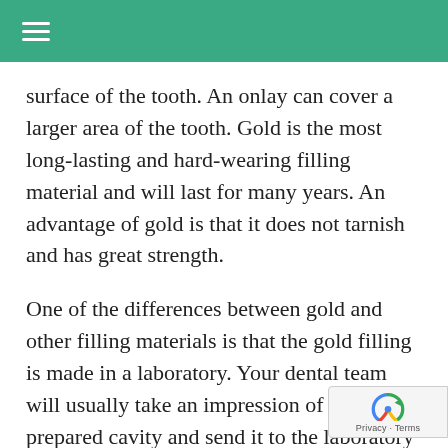≡
surface of the tooth. An onlay can cover a larger area of the tooth. Gold is the most long-lasting and hard-wearing filling material and will last for many years. An advantage of gold is that it does not tarnish and has great strength.
One of the differences between gold and other filling materials is that the gold filling is made in a laboratory. Your dental team will usually take an impression of the prepared cavity and send it to the laboratory for the technician to make the inlay or onlay. In the meantime, a temporary filling will be placed in the cavity. After the g…